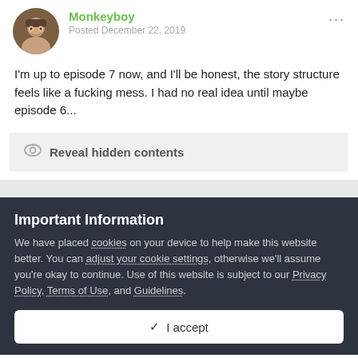Monkeyboy
Posted December 22, 2019
I'm up to episode 7 now, and I'll be honest, the story structure feels like a fucking mess. I had no real idea until maybe episode 6...
Reveal hidden contents
Important Information
We have placed cookies on your device to help make this website better. You can adjust your cookie settings, otherwise we'll assume you're okay to continue. Use of this website is subject to our Privacy Policy, Terms of Use, and Guidelines.
✓  I accept